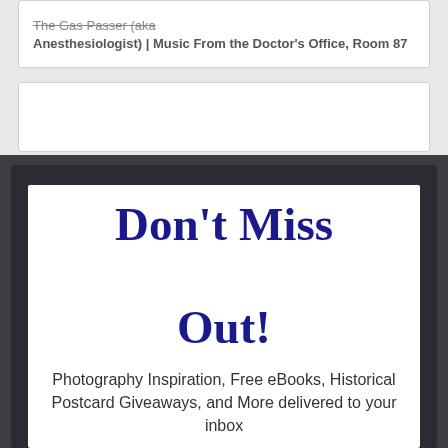The Gas Passer (aka Anesthesiologist) | Music From the Doctor's Office, Room 87
Don't Miss Out!
Photography Inspiration, Free eBooks, Historical Postcard Giveaways, and More delivered to your inbox